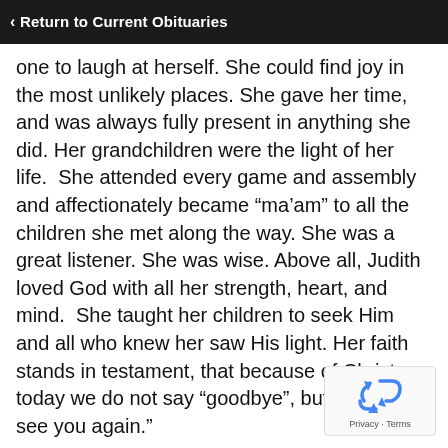Return to Current Obituaries
one to laugh at herself. She could find joy in the most unlikely places. She gave her time, and was always fully present in anything she did. Her grandchildren were the light of her life.  She attended every game and assembly and affectionately became “ma’am” to all the children she met along the way. She was a great listener. She was wise. Above all, Judith loved God with all her strength, heart, and mind.  She taught her children to seek Him and all who knew her saw His light. Her faith stands in testament, that because of Christ, today we do not say “goodbye”, but “until we see you again.”
[Figure (other): reCAPTCHA widget with recycle-arrow icon and Privacy · Terms label]